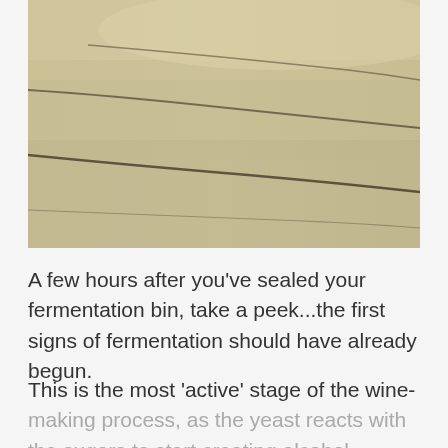[Figure (photo): Close-up photo of a fermentation bin surface showing a pale beige/cream colored mixture with dark diagonal streak lines running across it, indicating early signs of fermentation activity.]
A few hours after you've sealed your fermentation bin, take a peek...the first signs of fermentation should have already begun.
This is the most 'active' stage of the wine-making process, as the yeast reacts with the sugars to start creating alcohol.